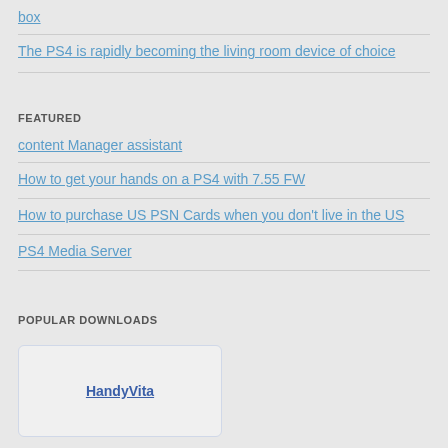box
The PS4 is rapidly becoming the living room device of choice
FEATURED
content Manager assistant
How to get your hands on a PS4 with 7.55 FW
How to purchase US PSN Cards when you don't live in the US
PS4 Media Server
POPULAR DOWNLOADS
HandyVita